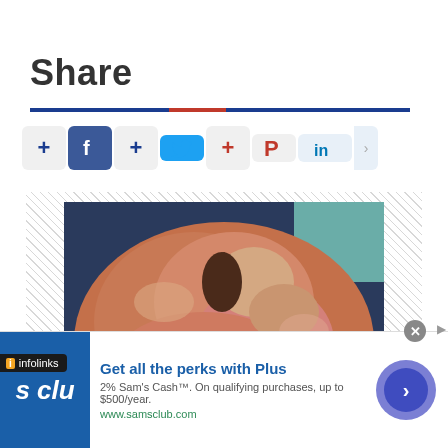Share
[Figure (screenshot): Social sharing buttons row with +, Facebook, +, Twitter, +, Pinterest, LinkedIn icons]
[Figure (photo): Close-up photo of a person's head showing reddish/pink hair from above]
infolinks
Get all the perks with Plus
2% Sam's Cash™. On qualifying purchases, up to $500/year.
www.samsclub.com